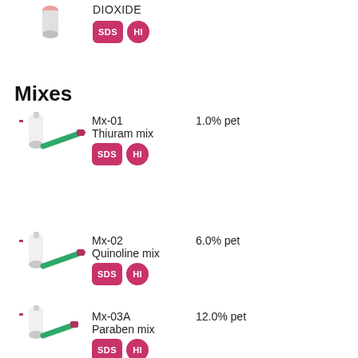DIOXIDE
[Figure (infographic): SDS and HI badge icons in pink/magenta rounded squares]
Mixes
[Figure (photo): Medical patch test vial and syringe product image]
Mx-01  Thiuram mix  1.0% pet
[Figure (infographic): SDS and HI badge icons]
[Figure (photo): Medical patch test vial and syringe product image]
Mx-02  Quinoline mix  6.0% pet
[Figure (infographic): SDS and HI badge icons]
[Figure (photo): Medical patch test vial and syringe product image]
Mx-03A  Paraben mix  12.0% pet
[Figure (infographic): SDS and HI badge icons]
[Figure (photo): Partial medical patch test product image at bottom]